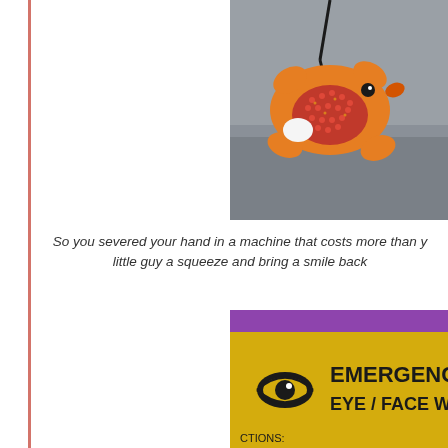[Figure (photo): An orange stuffed animal fish/star toy with a red sequined midsection and a black cord, hanging against a gray surface background.]
So you severed your hand in a machine that costs more than y... little guy a squeeze and bring a smile back...
[Figure (photo): A yellow emergency eye/face wash station sign with an eye icon, bold text reading 'EMERGENCY EYE / FACE WASH' on a yellow background with purple above, and partial text 'CTIONS:' at the bottom.]